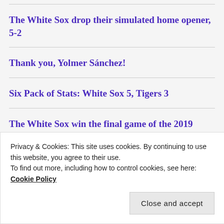The White Sox drop their simulated home opener, 5-2
Thank you, Yolmer Sánchez!
Six Pack of Stats: White Sox 5, Tigers 3
The White Sox win the final game of the 2019 season, 5-3
[Figure (photo): Small thumbnail image of a person]
Privacy & Cookies: This site uses cookies. By continuing to use this website, you agree to their use.
To find out more, including how to control cookies, see here: Cookie Policy
Close and accept